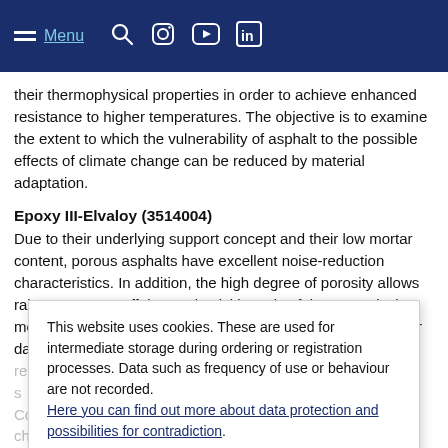Menu [navigation bar with search, Instagram, YouTube, LinkedIn icons]
their thermophysical properties in order to achieve enhanced resistance to higher temperatures. The objective is to examine the extent to which the vulnerability of asphalt to the possible effects of climate change can be reduced by material adaptation.
Epoxy III-Elvaloy (3514004)
Due to their underlying support concept and their low mortar content, porous asphalts have excellent noise-reduction characteristics. In addition, the high degree of porosity allows rainwater to run off the road quickly and safely. Due to its low mortar content and porosity, however, the road tends to suffer damage to its grain structure or to lose granular material as a
This website uses cookies. These are used for intermediate storage during ordering or registration processes. Data such as frequency of use or behaviour are not recorded. Here you can find out more about data protection and possibilities for contradiction.